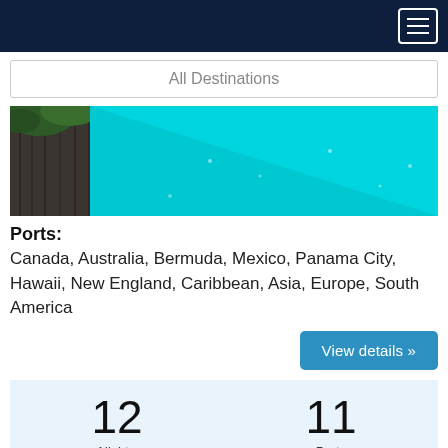All Destinations
[Figure (photo): Tropical turquoise water scene with dark wooden dock/pier on the left and vivid cyan-blue water filling the frame]
Ports: Canada, Australia, Bermuda, Mexico, Panama City, Hawaii, New England, Caribbean, Asia, Europe, South America
View details »
12 Nights
11 Ports